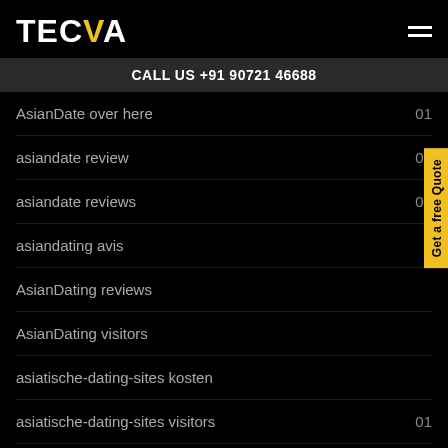TECVA
CALL US +91 90721 46688
AsianDate over here — 01
asiandate review — 02
asiandate reviews — 01
asiandating avis
AsianDating reviews
AsianDating visitors
asiatische-dating-sites kosten
asiatische-dating-sites visitors — 01
ates-tarihleme bedava — 01
Atheist Dating online — 01